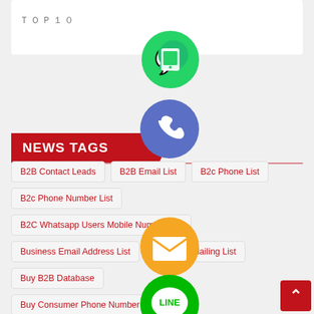ＴＯＰ１０
NEWS TAGS
B2B Contact Leads
B2B Email List
B2c Phone List
B2c Phone Number List
B2C Whatsapp Users Mobile Number List
Business Email Address List
Business Mailing List
Buy B2B Database
Buy Consumer Phone Number List
Cell Phone Number Leads
Cell Phone Number List
C Level Executive List
Cold Calling List